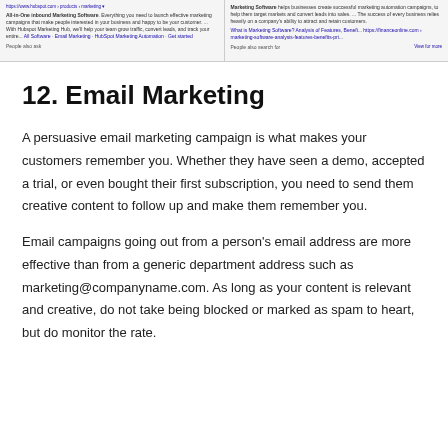[Figure (screenshot): Screenshot of a web search results page showing HubSpot Marketing Software results on the left and related marketing software content on the right, with 'People also ask' and 'People also search for' sections visible.]
12. Email Marketing
A persuasive email marketing campaign is what makes your customers remember you. Whether they have seen a demo, accepted a trial, or even bought their first subscription, you need to send them creative content to follow up and make them remember you.
Email campaigns going out from a person's email address are more effective than from a generic department address such as marketing@companyname.com. As long as your content is relevant and creative, do not take being blocked or marked as spam to heart, but do monitor the rate.